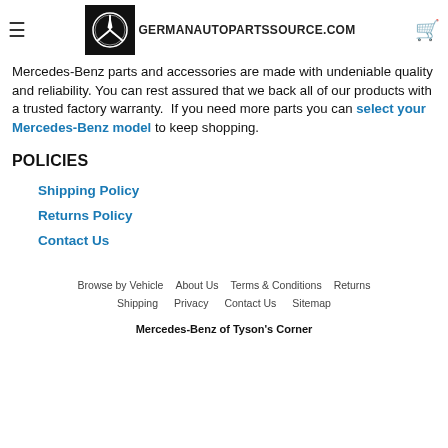GERMANAUTOPARTSSOURCE.COM
Mercedes-Benz parts and accessories are made with undeniable quality and reliability. You can rest assured that we back all of our products with a trusted factory warranty.  If you need more parts you can select your Mercedes-Benz model to keep shopping.
POLICIES
Shipping Policy
Returns Policy
Contact Us
Browse by Vehicle   About Us   Terms & Conditions   Returns   Shipping   Privacy   Contact Us   Sitemap
Mercedes-Benz of Tyson's Corner